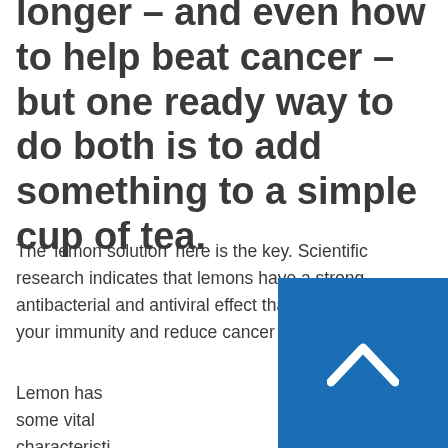longer – and even how to help beat cancer – but one ready way to do both is to add something to a simple cup of tea.
The 'lemon solution' here is the key. Scientific research indicates that lemons have a strong antibacterial and antiviral effect that can help boost your immunity and reduce cancer risk.
Lemon has some vital characteristics when it comes to life lengthening properties and it is also something that works as a containing products like citric acid, vitamin C, bioflavenoids, pectin, and limonene that
[Figure (other): Blue scroll-to-top button with white chevron arrow pointing upward]